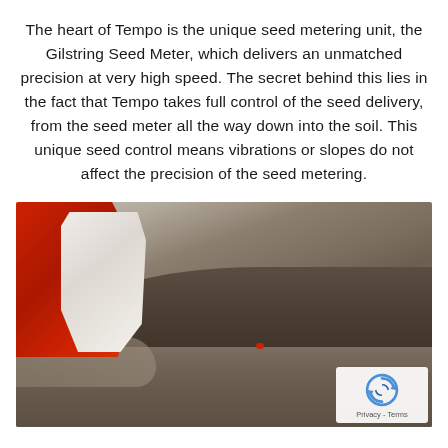The heart of Tempo is the unique seed metering unit, the Gilstring Seed Meter, which delivers an unmatched precision at very high speed. The secret behind this lies in the fact that Tempo takes full control of the seed delivery, from the seed meter all the way down into the soil. This unique seed control means vibrations or slopes do not affect the precision of the seed metering.
[Figure (photo): Close-up photo of a gloved hand (red and white glove) touching or placing a seed in dark soil. A small red seed is visible in the soil. A reCAPTCHA logo and Privacy-Terms text overlay appears in the bottom-right corner.]